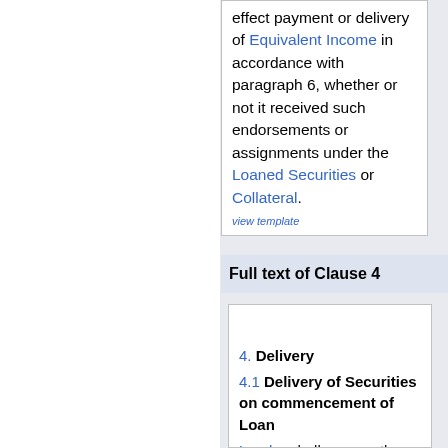effect payment or delivery of Equivalent Income in accordance with paragraph 6, whether or not it received such endorsements or assignments under the Loaned Securities or Collateral.
view template
Full text of Clause 4
4. Delivery 4.1 Delivery of Securities on commencement of Loan Lender shall procure the Delivery of Securities to Borrower or deliver such